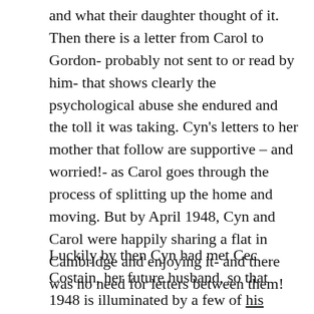and what their daughter thought of it.  Then there is a letter from Carol to Gordon- probably not sent to or read by him- that shows clearly the psychological abuse she endured and the toll it was taking.  Cyn's letters to her mother that follow are supportive – and worried!- as Carol goes through the process of splitting up the home and moving.  But by April 1948, Cyn and Carol were happily sharing a flat in Cambridge and enjoying it- and there was no need for letters between them!
Luckily by then Cyn had met Cec Costain, her future husband, so that 1948 is illuminated by a few of his letters to his mother, and holiday postcards to Cyn, as well as photographs from a